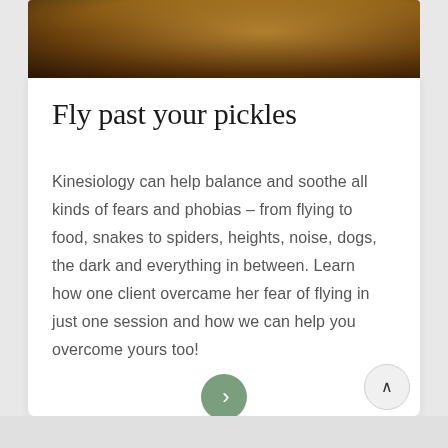[Figure (photo): A warm amber/brown toned landscape photograph serving as a decorative banner at the top of a card]
Fly past your pickles
Kinesiology can help balance and soothe all kinds of fears and phobias – from flying to food, snakes to spiders, heights, noise, dogs, the dark and everything in between. Learn how one client overcame her fear of flying in just one session and how we can help you overcome yours too!